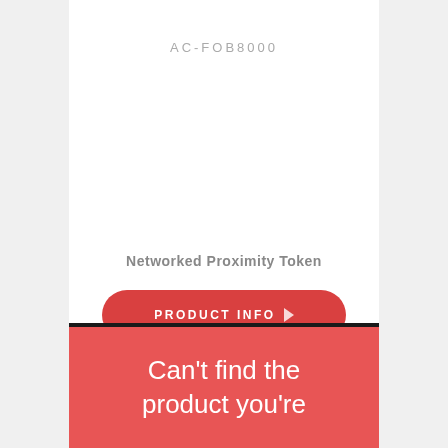AC-FOB8000
Networked Proximity Token
PRODUCT INFO
Can't find the product you're